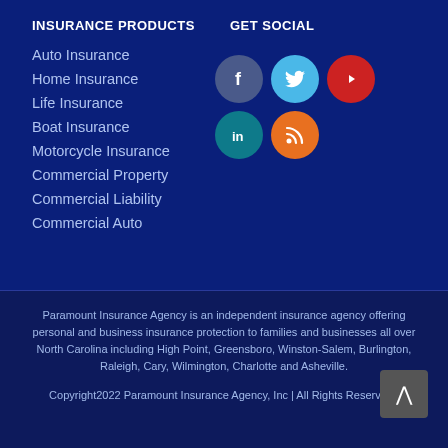INSURANCE PRODUCTS
GET SOCIAL
Auto Insurance
Home Insurance
Life Insurance
Boat Insurance
Motorcycle Insurance
Commercial Property
Commercial Liability
Commercial Auto
[Figure (infographic): Social media icons: Facebook (dark blue circle), Twitter (light blue circle), YouTube (red circle), LinkedIn (teal circle), RSS (orange circle)]
Paramount Insurance Agency is an independent insurance agency offering personal and business insurance protection to families and businesses all over North Carolina including High Point, Greensboro, Winston-Salem, Burlington, Raleigh, Cary, Wilmington, Charlotte and Asheville.
Copyright2022 Paramount Insurance Agency, Inc | All Rights Reserved |